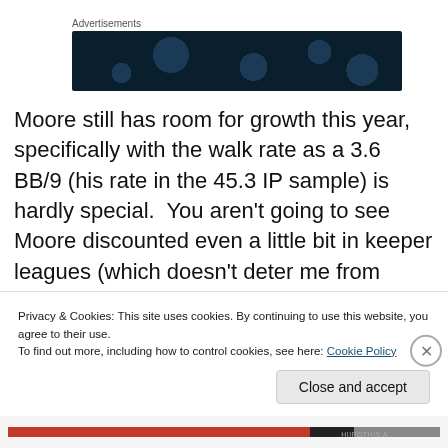Advertisements
[Figure (other): Dark navy blue advertisement banner with circular dot patterns]
Moore still has room for growth this year, specifically with the walk rate as a 3.6 BB/9 (his rate in the 45.3 IP sample) is hardly special.  You aren't going to see Moore discounted even a little bit in keeper leagues (which doesn't deter me from buying), but the ERA north of 4.00
Privacy & Cookies: This site uses cookies. By continuing to use this website, you agree to their use.
To find out more, including how to control cookies, see here: Cookie Policy